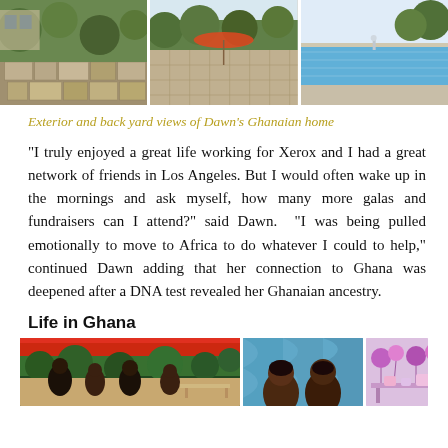[Figure (photo): Three photos of exterior and backyard views of Dawn's Ghanaian home, including a pool area with lounge chairs]
Exterior and back yard views of Dawn's Ghanaian home
“I truly enjoyed a great life working for Xerox and I had a great network of friends in Los Angeles. But I would often wake up in the mornings and ask myself, how many more galas and fundraisers can I attend?” said Dawn. “I was being pulled emotionally to move to Africa to do whatever I could to help,” continued Dawn adding that her connection to Ghana was deepened after a DNA test revealed her Ghanaian ancestry.
Life in Ghana
[Figure (photo): Three photos showing life in Ghana: an outdoor gathering scene, two women posing together, and a colorful event setup]